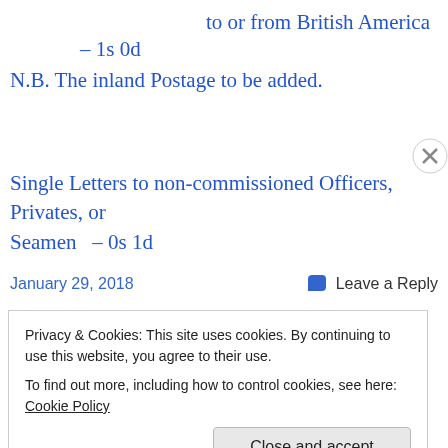to or from British America
– 1s 0d
N.B. The inland Postage to be added.
Single Letters to non-commissioned Officers, Privates, or Seamen  – 0s 1d
January 29, 2018
Leave a Reply
Privacy & Cookies: This site uses cookies. By continuing to use this website, you agree to their use.
To find out more, including how to control cookies, see here: Cookie Policy